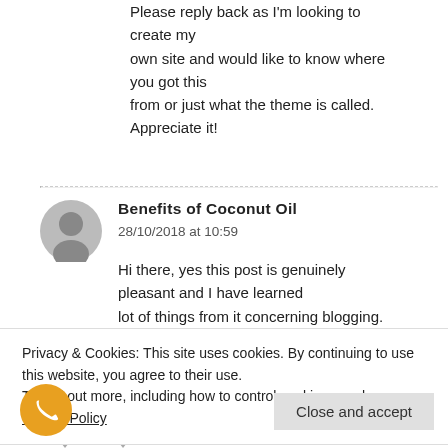Please reply back as I'm looking to create my own site and would like to know where you got this from or just what the theme is called. Appreciate it!
Benefits of Coconut Oil
28/10/2018 at 10:59
Hi there, yes this post is genuinely pleasant and I have learned lot of things from it concerning blogging.
Privacy & Cookies: This site uses cookies. By continuing to use this website, you agree to their use.
To find out more, including how to control cookies, see here: Cookie Policy